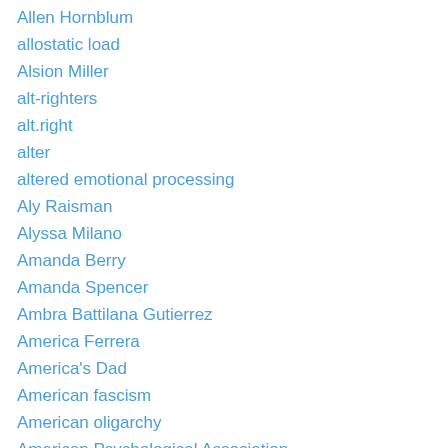Allen Hornblum
allostatic load
Alsion Miller
alt-righters
alt.right
alter
altered emotional processing
Aly Raisman
Alyssa Milano
Amanda Berry
Amanda Spencer
Ambra Battilana Gutierrez
America Ferrera
America's Dad
American fascism
American oligarchy
American Psychological Association
American Theocracy
Amicus
Amish abuse